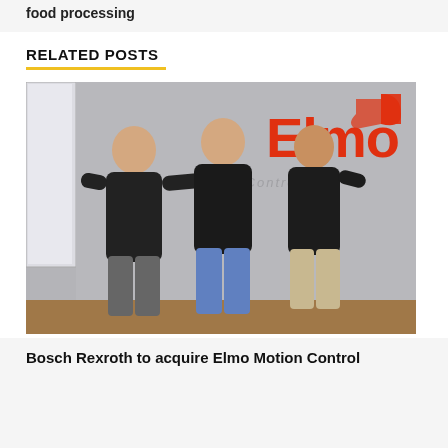food processing
RELATED POSTS
[Figure (photo): Three men in dark shirts standing in front of an Elmo Motion Control logo on a gray wall]
Bosch Rexroth to acquire Elmo Motion Control